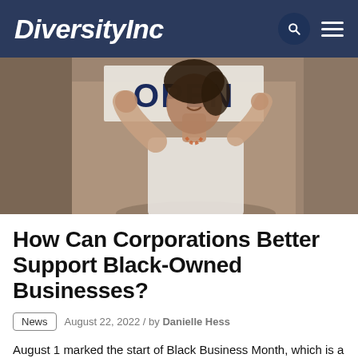DiversityInc
[Figure (photo): A smiling Black woman in a white top holding an OPEN sign in a shop window]
How Can Corporations Better Support Black-Owned Businesses?
News  August 22, 2022 / by Danielle Hess
August 1 marked the start of Black Business Month, which is a month dedicated to celebrating, appreciating and supporting